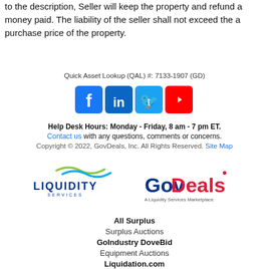to the description, Seller will keep the property and refund all money paid. The liability of the seller shall not exceed the actual purchase price of the property.
Quick Asset Lookup (QAL) #: 7133-1907 (GD)
[Figure (logo): Social media icons: Facebook (blue), LinkedIn (blue), Twitter (blue), YouTube (red)]
Help Desk Hours: Monday - Friday, 8 am - 7 pm ET.
Contact us with any questions, comments or concerns.
Copyright © 2022, GovDeals, Inc. All Rights Reserved. Site Map
[Figure (logo): Liquidity Services logo and GovDeals logo with tagline 'A Liquidity Services Marketplace']
All Surplus
Surplus Auctions
GoIndustry DoveBid
Equipment Auctions
Liquidation.com